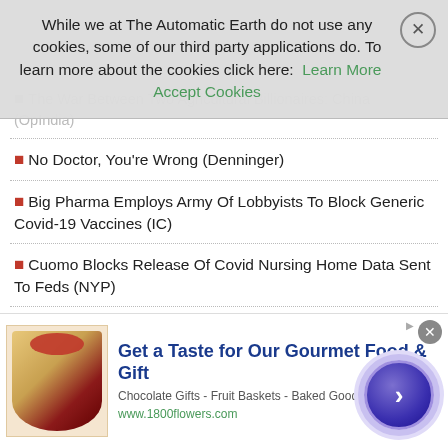While we at The Automatic Earth do not use any cookies, some of our third party applications do. To learn more about the cookies click here: Learn More  Accept Cookies
The War Between Two Agricultural Billionaires: China (OpIndia)
No Doctor, You're Wrong (Denninger)
Big Pharma Employs Army Of Lobbyists To Block Generic Covid-19 Vaccines (IC)
Cuomo Blocks Release Of Covid Nursing Home Data Sent To Feds (NYP)
Putin Invites Zelensky To Moscow For Discussions On 'Bilateral Relations' (RT)
Pentagon Deploys More Forces to Afghanistan Over Fears of Taliban (Antiwar)
Biden's Plan To Create Over 10 Million Well-Paying Jobs With His Clean Energy Initiative
Bitcoin Leads Massive Cryptocurrency Market Sell-off (RT)
Big Banks Charged Billions in Overdraft Fees During Pandemic (Pros.)
[Figure (infographic): Advertisement for 1800flowers.com: Get a Taste for Our Gourmet Food & Gift - Chocolate Gifts - Fruit Baskets - Baked Goods - www.1800flowers.com]